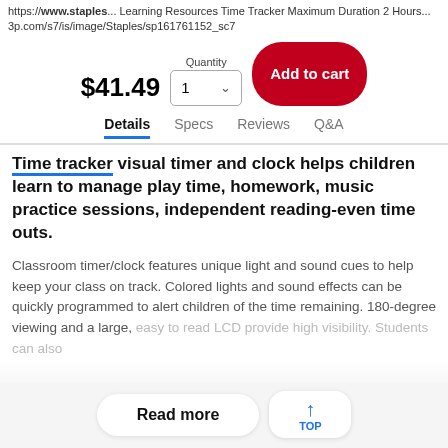https://www.staples... Learning Resources Time Tracker Maximum Duration 2 Hours... 3p.com/s7/is/image/Staples/sp161761152_sc7
$41.49  Quantity 1  Add to cart
Details  Specs  Reviews  Q&A
Time tracker visual timer and clock helps children learn to manage play time, homework, music practice sessions, independent reading-even time outs.
Classroom timer/clock features unique light and sound cues to help keep your class on track. Colored lights and sound effects can be quickly programmed to alert children of the time remaining. 180-degree viewing and a large, easy to read LCD provide high visibility. Students can also...
Read more